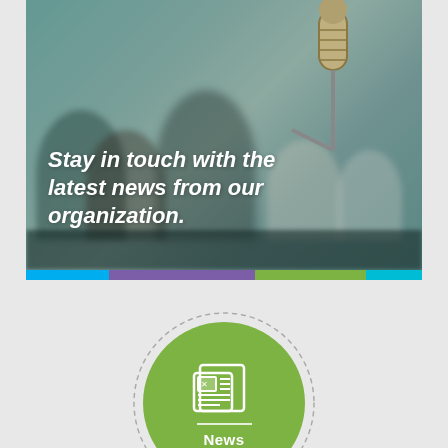[Figure (photo): Blurred background photo of a conference room with audience and a microphone in foreground, with overlay text 'Stay in touch with the latest news from our organization.']
[Figure (infographic): Green circle with dotted ring border, newspaper icon, horizontal divider line, and the label 'News' at the bottom. Sits on a light gray background.]